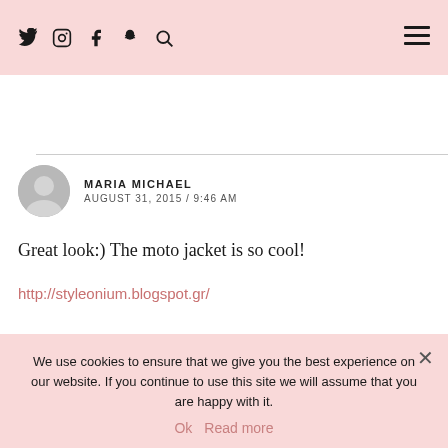Social icons: Twitter, Instagram, Facebook, Snapchat, Search | Hamburger menu
MARIA MICHAEL
AUGUST 31, 2015 / 9:46 AM
Great look:) The moto jacket is so cool!
http://styleonium.blogspot.gr/
We use cookies to ensure that we give you the best experience on our website. If you continue to use this site we will assume that you are happy with it.
Ok  Read more